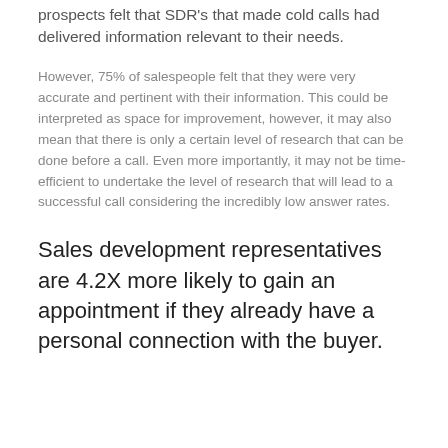prospects felt that SDR's that made cold calls had delivered information relevant to their needs.
However, 75% of salespeople felt that they were very accurate and pertinent with their information. This could be interpreted as space for improvement, however, it may also mean that there is only a certain level of research that can be done before a call. Even more importantly, it may not be time-efficient to undertake the level of research that will lead to a successful call considering the incredibly low answer rates.
Sales development representatives are 4.2X more likely to gain an appointment if they already have a personal connection with the buyer.